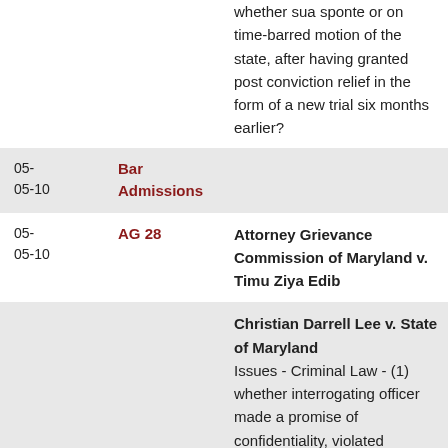whether sua sponte or on time-barred motion of the state, after having granted post conviction relief in the form of a new trial six months earlier?
| Date | Docket | Content |
| --- | --- | --- |
| 05-
05-10 | Bar Admissions |  |
| 05-
05-10 | AG 28 | Attorney Grievance Commission of Maryland v. Timu Ziya Edib |
|  |  | Christian Darrell Lee v. State of Maryland
Issues - Criminal Law - (1) whether interrogating officer made a promise of confidentiality, violated |